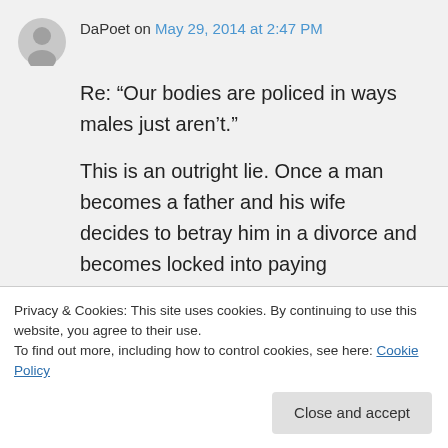DaPoet on May 29, 2014 at 2:47 PM
Re: “Our bodies are policed in ways males just aren’t.”

This is an outright lie. Once a man becomes a father and his wife decides to betray him in a divorce and becomes locked into paying
Privacy & Cookies: This site uses cookies. By continuing to use this website, you agree to their use.
To find out more, including how to control cookies, see here: Cookie Policy